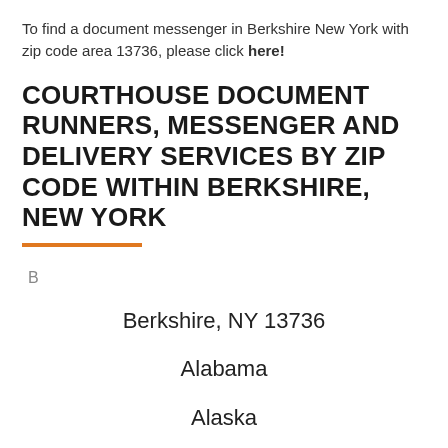To find a document messenger in Berkshire New York with zip code area 13736, please click here!
COURTHOUSE DOCUMENT RUNNERS, MESSENGER AND DELIVERY SERVICES BY ZIP CODE WITHIN BERKSHIRE, NEW YORK
B
Berkshire, NY 13736
Alabama
Alaska
American Samoa